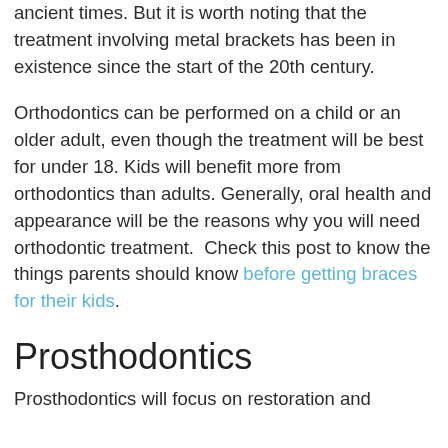ancient times. But it is worth noting that the treatment involving metal brackets has been in existence since the start of the 20th century.
Orthodontics can be performed on a child or an older adult, even though the treatment will be best for under 18. Kids will benefit more from orthodontics than adults. Generally, oral health and appearance will be the reasons why you will need orthodontic treatment.  Check this post to know the things parents should know before getting braces for their kids.
Prosthodontics
Prosthodontics will focus on restoration and